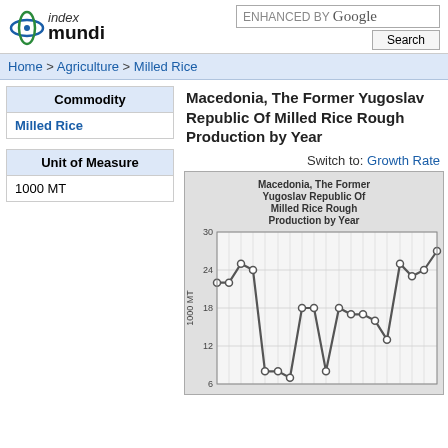index mundi | ENHANCED BY Google | Search
Home > Agriculture > Milled Rice
| Commodity |
| --- |
| Milled Rice |
Macedonia, The Former Yugoslav Republic Of Milled Rice Rough Production by Year
| Unit of Measure |
| --- |
| 1000 MT |
Switch to: Growth Rate
[Figure (line-chart): Line chart showing Macedonia milled rice rough production by year in 1000 MT units, with values ranging from about 7 to 27]